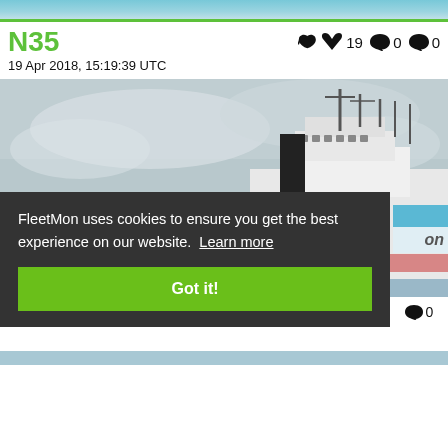[Figure (photo): Top banner water/sea photo strip with green border]
N35
👍 19  ❤ 0  💬 0
19 Apr 2018, 15:19:39 UTC
[Figure (photo): Ship photo showing white cargo/research vessel with antenna masts, trees and overcast sky in background]
FleetMon uses cookies to ensure you get the best experience on our website. Learn more
Got it!
💬 0